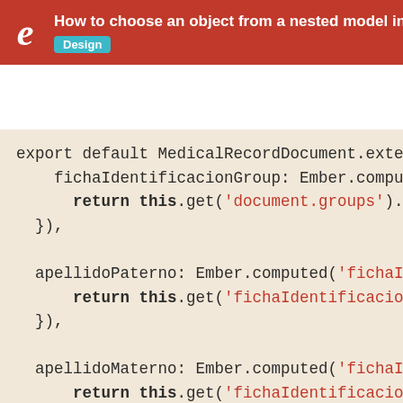How to choose an object from a nested model in a t... Design
[Figure (screenshot): Code snippet showing JavaScript/Ember.js model definitions including fichaIdentificacionGroup, apellidoPaterno, apellidoMaterno, and signosVitalesGroup computed properties with MedicalRecordDocument.extend()]